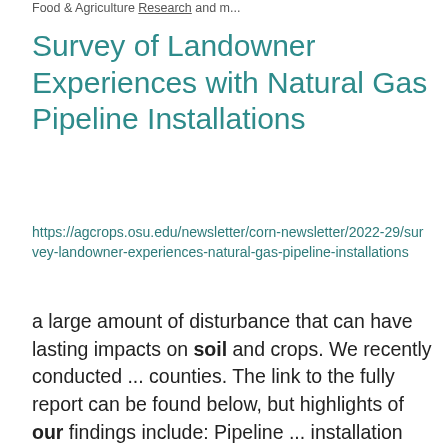Food & Agriculture Research and m...
Survey of Landowner Experiences with Natural Gas Pipeline Installations
https://agcrops.osu.edu/newsletter/corn-newsletter/2022-29/survey-landowner-experiences-natural-gas-pipeline-installations
a large amount of disturbance that can have lasting impacts on soil and crops. We recently conducted ... counties. The link to the fully report can be found below, but highlights of our findings include: Pipeline ... installation often occurred when soil was too wet to work. 71.5% of respondents answered “Yes” to the